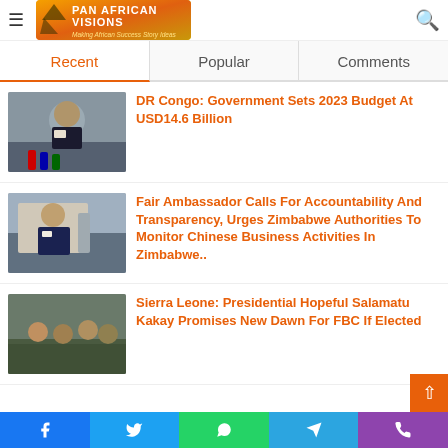Pan African Visions - Making African Success Story Ideas
Recent | Popular | Comments
DR Congo: Government Sets 2023 Budget At USD14.6 Billion
Fair Ambassador Calls For Accountability And Transparency, Urges Zimbabwe Authorities To Monitor Chinese Business Activities In Zimbabwe..
Sierra Leone: Presidential Hopeful Salamatu Kakay Promises New Dawn For FBC If Elected